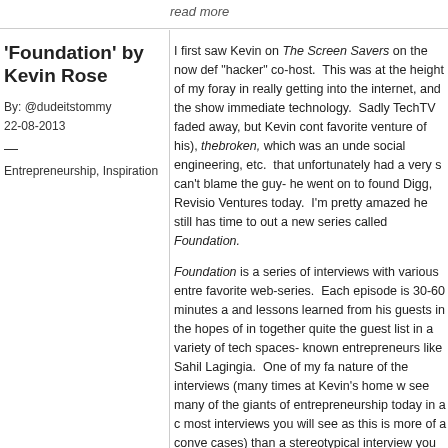'Foundation' by Kevin Rose
By: @dudeitstommy
22-08-2013
Entrepreneurship, Inspiration
I first saw Kevin on The Screen Savers on the now def "hacker" co-host. This was at the height of my foray in really getting into the internet, and the show immediate technology. Sadly TechTV faded away, but Kevin cont favorite venture of his), thebroken, which was an unde social engineering, etc. that unfortunately had a very s can't blame the guy- he went on to found Digg, Revisio Ventures today. I'm pretty amazed he still has time to out a new series called Foundation.
Foundation is a series of interviews with various entre favorite web-series. Each episode is 30-60 minutes a and lessons learned from his guests in the hopes of in together quite the guest list in a variety of tech spaces known entrepreneurs like Sahil Lagingia. One of my fa nature of the interviews (many times at Kevin's home w see many of the giants of entrepreneurship today in a most interviews you will see as this is more of a conve cases) than a stereotypical interview you would see o infinitely fascinating, and to hear how each of these in develop technologies that have changed the world is ri episodes currently posted as each interview has surro